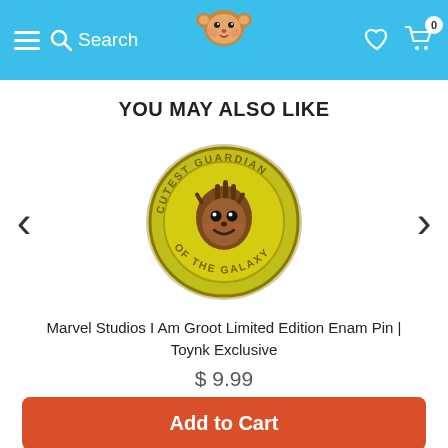Toynk — Search, Logo, Wishlist, Cart (0)
YOU MAY ALSO LIKE
[Figure (photo): Circular enamel pin with yellow-green background. In the center is a cute cartoon Baby Groot face (brown, with big eyes and a smile). Around the edge in yellow text reads: CUTEST GUARDIAN OF THE GALAXY.]
Marvel Studios I Am Groot Limited Edition Enamel Pin | Toynk Exclusive
$ 9.99
Add to Cart